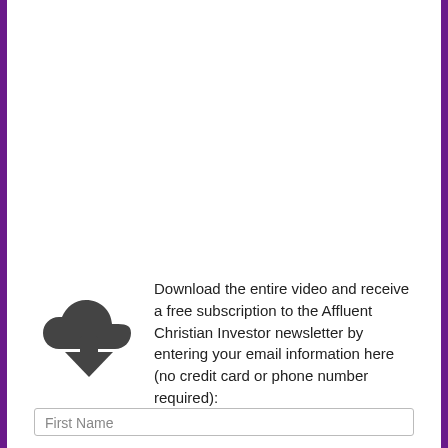[Figure (illustration): Dark grey cloud with downward arrow icon (download icon)]
Download the entire video and receive a free subscription to the Affluent Christian Investor newsletter by entering your email information here (no credit card or phone number required):
First Name